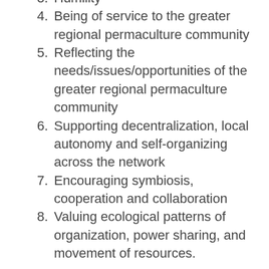3. Humility
4. Being of service to the greater regional permaculture community
5. Reflecting the needs/issues/opportunities of the greater regional permaculture community
6. Supporting decentralization, local autonomy and self-organizing across the network
7. Encouraging symbiosis, cooperation and collaboration
8. Valuing ecological patterns of organization, power sharing, and movement of resources.